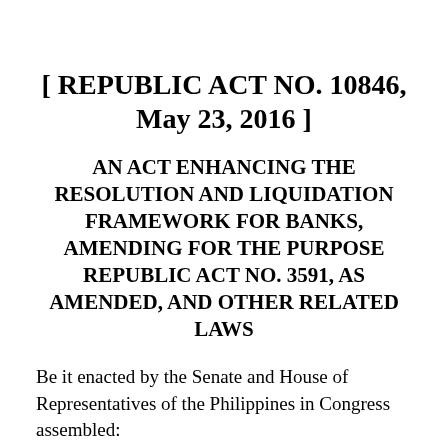[ REPUBLIC ACT NO. 10846, May 23, 2016 ]
AN ACT ENHANCING THE RESOLUTION AND LIQUIDATION FRAMEWORK FOR BANKS, AMENDING FOR THE PURPOSE REPUBLIC ACT NO. 3591, AS AMENDED, AND OTHER RELATED LAWS
Be it enacted by the Senate and House of Representatives of the Philippines in Congress assembled: